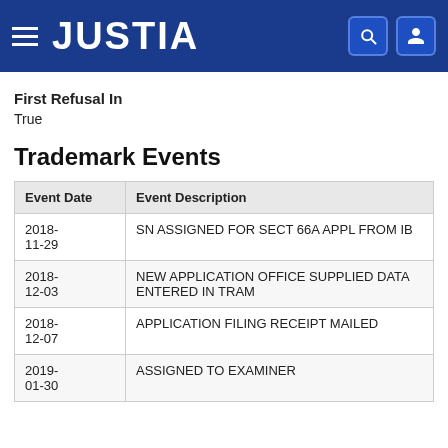JUSTIA
First Refusal In
True
Trademark Events
| Event Date | Event Description |
| --- | --- |
| 2018-11-29 | SN ASSIGNED FOR SECT 66A APPL FROM IB |
| 2018-12-03 | NEW APPLICATION OFFICE SUPPLIED DATA ENTERED IN TRAM |
| 2018-12-07 | APPLICATION FILING RECEIPT MAILED |
| 2019-01-30 | ASSIGNED TO EXAMINER |